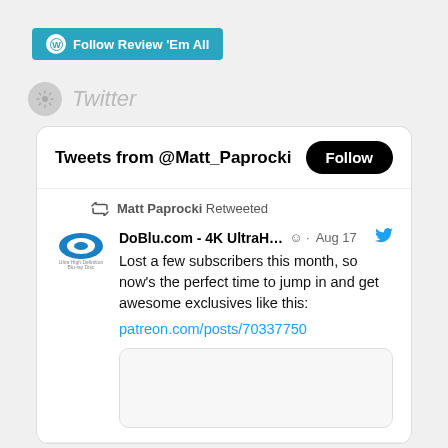[Figure (screenshot): WordPress 'Follow Review Em All' button in teal/blue]
Twitter
[Figure (screenshot): Twitter widget showing Tweets from @Matt_Paprocki with a Follow button, a retweet from DoBlu.com - 4K UltraH... on Aug 17: 'Lost a few subscribers this month, so now's the perfect time to jump in and get awesome exclusives like this: patreon.com/posts/70337750']